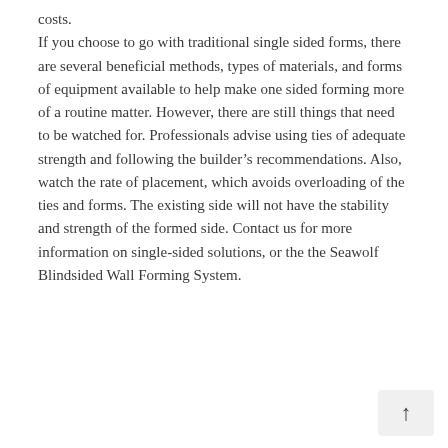costs.
If you choose to go with traditional single sided forms, there are several beneficial methods, types of materials, and forms of equipment available to help make one sided forming more of a routine matter. However, there are still things that need to be watched for. Professionals advise using ties of adequate strength and following the builder’s recommendations. Also, watch the rate of placement, which avoids overloading of the ties and forms. The existing side will not have the stability and strength of the formed side. Contact us for more information on single-sided solutions, or the the Seawolf Blindsided Wall Forming System.